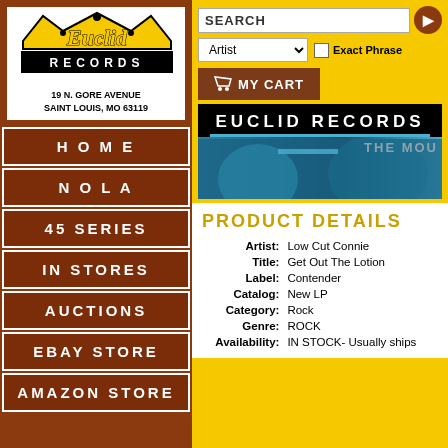[Figure (logo): Euclid Records logo with crown graphic, yellow italic text 'Euclid' and black bar 'RECORDS']
19 N. GORE AVENUE
SAINT LOUIS, MO 63119
HOME
NOLA
45 SERIES
IN STORES
AUCTIONS
EBAY STORE
AMAZON STORE
SEARCH
Artist
Exact Phrase
MY CART
[Figure (screenshot): Euclid Records banner with blue-tinted photo of person and text 'EUCLID RECORDS' on black background]
THE MOU
PRODUCT DETAILS
| Field | Value |
| --- | --- |
| Artist: | Low Cut Connie |
| Title: | Get Out The Lotion |
| Label: | Contender |
| Catalog: | New LP |
| Category: | Rock |
| Genre: | ROCK |
| Availability: | IN STOCK- Usually ships |